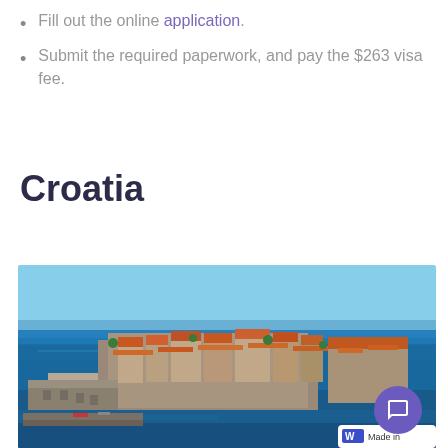Fill out the online application.
Submit the required paperwork, and pay the $263 visa fee.
Croatia
[Figure (photo): Aerial/coastal view of Dubrovnik old town, Croatia, showing the historic walled city surrounded by blue Adriatic Sea with red-tiled rooftops and stone fortifications.]